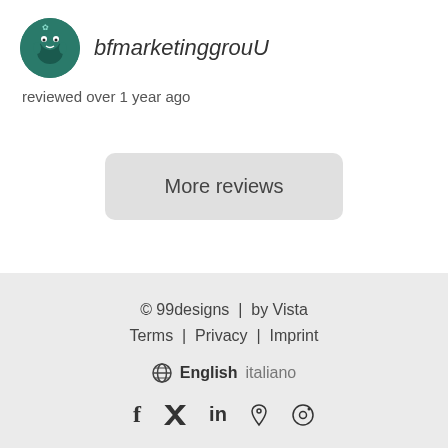[Figure (illustration): Round avatar icon with teal/dark green background showing a character face]
bfmarketinggrouU
reviewed over 1 year ago
More reviews
© 99designs  |  by Vista
Terms  |  Privacy  |  Imprint
English  italiano
f  twitter  in  pinterest  instagram